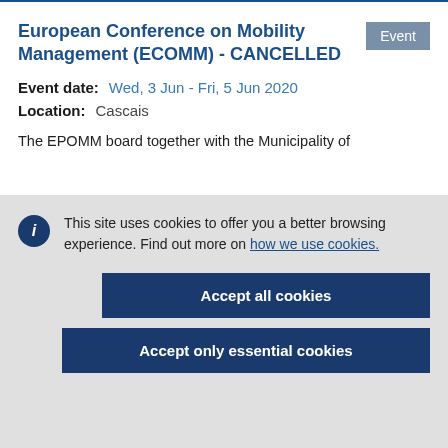European Conference on Mobility Management (ECOMM) - CANCELLED
Event date:   Wed, 3 Jun - Fri, 5 Jun 2020
Location:   Cascais
The EPOMM board together with the Municipality of
This site uses cookies to offer you a better browsing experience. Find out more on how we use cookies.
Accept all cookies
Accept only essential cookies